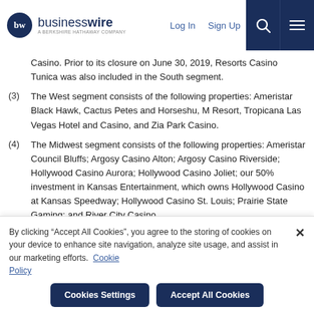businesswire — A BERKSHIRE HATHAWAY COMPANY | Log In | Sign Up
Casino. Prior to its closure on June 30, 2019, Resorts Casino Tunica was also included in the South segment.
(3) The West segment consists of the following properties: Ameristar Black Hawk, Cactus Petes and Horseshu, M Resort, Tropicana Las Vegas Hotel and Casino, and Zia Park Casino.
(4) The Midwest segment consists of the following properties: Ameristar Council Bluffs; Argosy Casino Alton; Argosy Casino Riverside; Hollywood Casino Aurora; Hollywood Casino Joliet; our 50% investment in Kansas Entertainment, which owns Hollywood Casino at Kansas Speedway; Hollywood Casino St. Louis; Prairie State Gaming; and River City Casino.
By clicking “Accept All Cookies”, you agree to the storing of cookies on your device to enhance site navigation, analyze site usage, and assist in our marketing efforts. Cookie Policy
Cookies Settings | Accept All Cookies